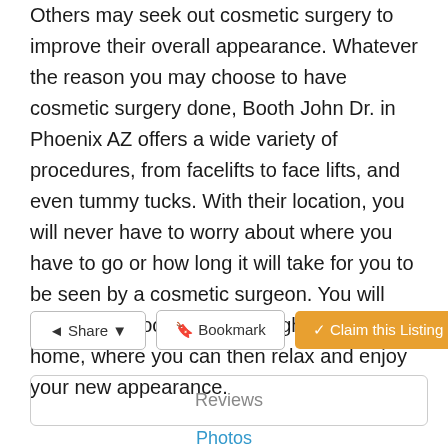Others may seek out cosmetic surgery to improve their overall appearance. Whatever the reason you may choose to have cosmetic surgery done, Booth John Dr. in Phoenix AZ offers a wide variety of procedures, from facelifts to face lifts, and even tummy tucks. With their location, you will never have to worry about where you have to go or how long it will take for you to be seen by a cosmetic surgeon. You will have your procedure done right in your own home, where you can then relax and enjoy your new appearance.
Share   Bookmark   Claim this Listing
Reviews
Photos